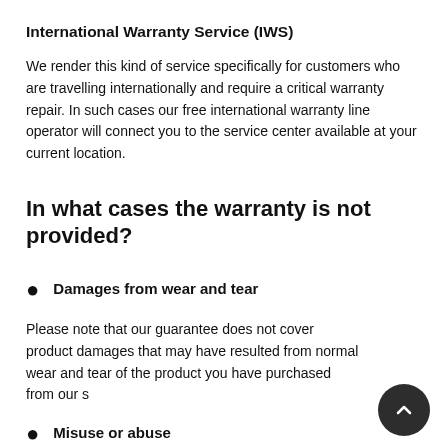International Warranty Service (IWS)
We render this kind of service specifically for customers who are travelling internationally and require a critical warranty repair. In such cases our free international warranty line operator will connect you to the service center available at your current location.
In what cases the warranty is not provided?
Damages from wear and tear
Please note that our guarantee does not cover product damages that may have resulted from normal wear and tear of the product you have purchased from our s
Misuse or abuse